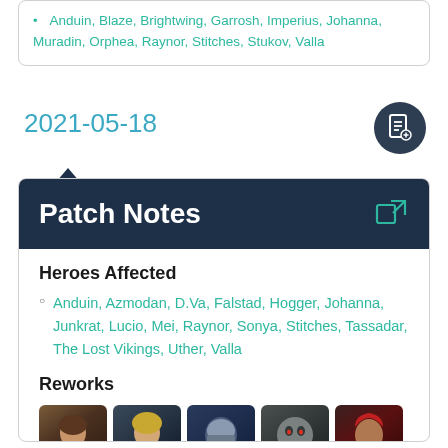Anduin, Blaze, Brightwing, Garrosh, Imperius, Johanna, Muradin, Orphea, Raynor, Stitches, Stukov, Valla
2021-05-18
Patch Notes
Heroes Affected
Anduin, Azmodan, D.Va, Falstad, Hogger, Johanna, Junkrat, Lucio, Mei, Raynor, Sonya, Stitches, Tassadar, The Lost Vikings, Uther, Valla
Reworks
[Figure (illustration): Five hero character portrait icons in rounded square frames]